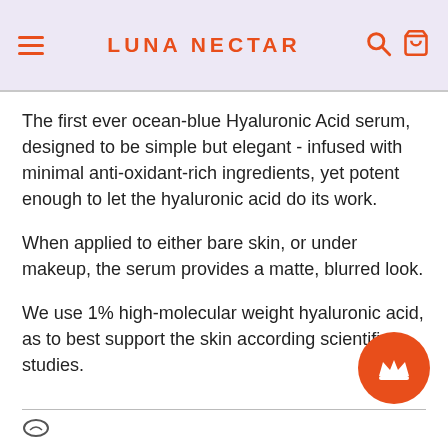LUNA NECTAR
The first ever ocean-blue Hyaluronic Acid serum, designed to be simple but elegant - infused with minimal anti-oxidant-rich ingredients, yet potent enough to let the hyaluronic acid do its work.
When applied to either bare skin, or under makeup, the serum provides a matte, blurred look.
We use 1% high-molecular weight hyaluronic acid, as to best support the skin according scientific studies.